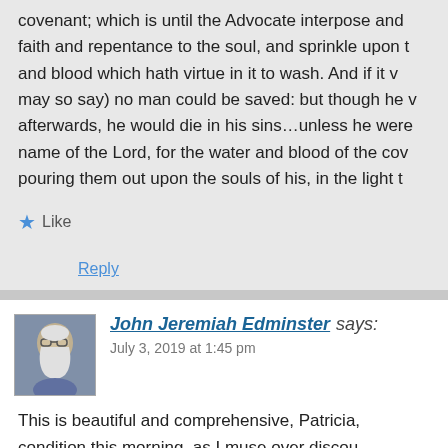covenant; which is until the Advocate interpose and faith and repentance to the soul, and sprinkle upon t and blood which hath virtue in it to wash. And if it v may so say) no man could be saved: but though he v afterwards, he would die in his sins…unless he were name of the Lord, for the water and blood of the cov pouring them out upon the souls of his, in the light t
Like
Reply
John Jeremiah Edminster says:
July 3, 2019 at 1:45 pm
This is beautiful and comprehensive, Patricia, condition this morning, as I muse over discou still lives and works in me, and I seem to need Quakers might read and consider it. It sent me came out of: Penington's "Some Things Relati